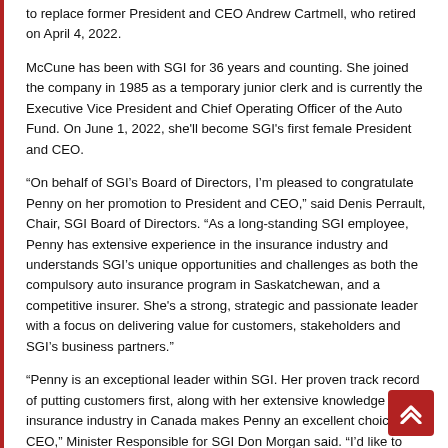to replace former President and CEO Andrew Cartmell, who retired on April 4, 2022.
McCune has been with SGI for 36 years and counting. She joined the company in 1985 as a temporary junior clerk and is currently the Executive Vice President and Chief Operating Officer of the Auto Fund. On June 1, 2022, she'll become SGI's first female President and CEO.
“On behalf of SGI’s Board of Directors, I’m pleased to congratulate Penny on her promotion to President and CEO,” said Denis Perrault, Chair, SGI Board of Directors. “As a long-standing SGI employee, Penny has extensive experience in the insurance industry and understands SGI’s unique opportunities and challenges as both the compulsory auto insurance program in Saskatchewan, and a competitive insurer. She’s a strong, strategic and passionate leader with a focus on delivering value for customers, stakeholders and SGI’s business partners.”
“Penny is an exceptional leader within SGI. Her proven track record of putting customers first, along with her extensive knowledge of the insurance industry in Canada makes Penny an excellent choice for CEO,” Minister Responsible for SGI Don Morgan said. “I’d like to congratulate Penny on her new position and thank her for ensuring SGI continues to serve the people of Saskatchewan.”